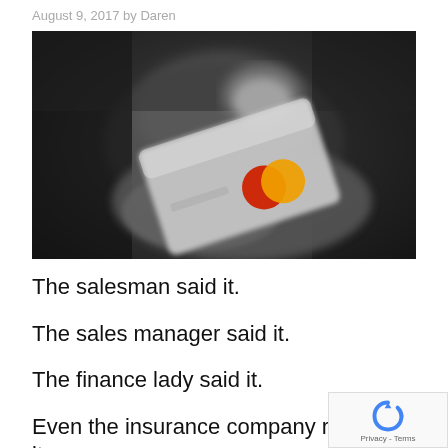August 9, 2017 by Daren
[Figure (photo): Black and white photo of a hand holding a credit card (Mastercard) with colorized red and orange Mastercard logo circles visible on the card.]
The salesman said it.
The sales manager said it.
The finance lady said it.
Even the insurance company rep said it.